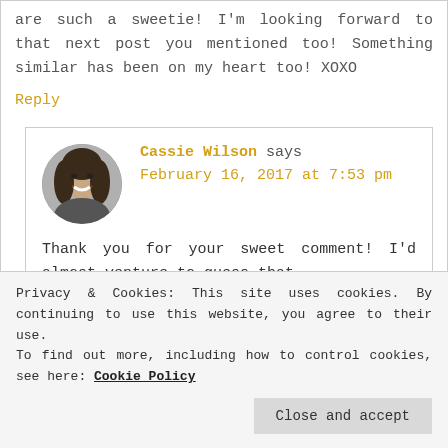are such a sweetie! I'm looking forward to that next post you mentioned too! Something similar has been on my heart too! XOXO
Reply
Cassie Wilson says February 16, 2017 at 7:53 pm
[Figure (photo): Circular avatar photo of a young woman smiling, in black and white]
Thank you for your sweet comment! I'd almost venture to guess that
Privacy & Cookies: This site uses cookies. By continuing to use this website, you agree to their use. To find out more, including how to control cookies, see here: Cookie Policy
Close and accept